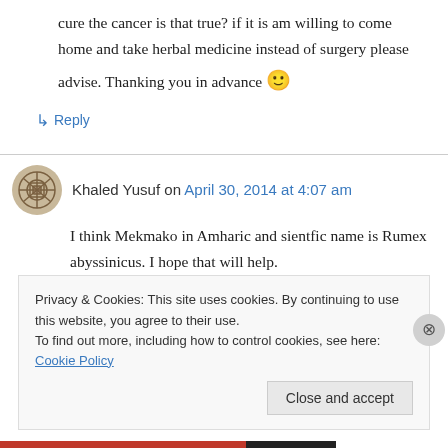cure the cancer is that true? if it is am willing to come home and take herbal medicine instead of surgery please advise. Thanking you in advance 🙂
↳ Reply
Khaled Yusuf on April 30, 2014 at 4:07 am
I think Mekmako in Amharic and sientfic name is Rumex abyssinicus. I hope that will help.
Privacy & Cookies: This site uses cookies. By continuing to use this website, you agree to their use.
To find out more, including how to control cookies, see here: Cookie Policy